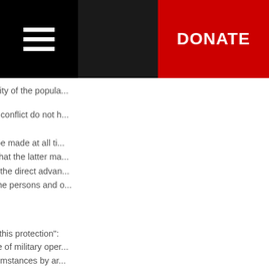DONATE (navigation bar with hamburger menu)
ensure the total immunity of the popula...
-- parties engaged in a conflict do not h... the enemy; (7)
-- a distinction should be made at all ti... civilian population, so that the latter ma...
-- the relation between the direct advan... which could result on the persons and o...
' Second sentence '
4773 "To give effect to this protection": only considered in case of military oper... be observed in all circumstances by ar... make the protection of the civilian popu...
4774 This paragraph is worded in the s... population), ' paragraph 1, of Protocol I... rules of international law. (12)